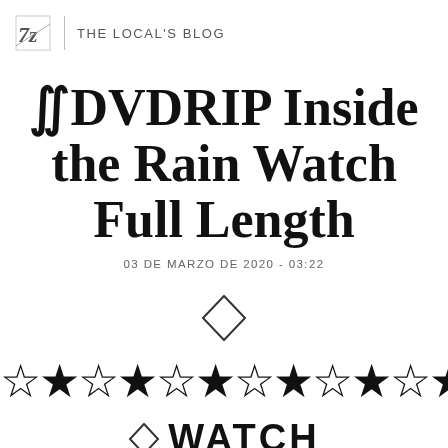THE LOCAL'S BLOG
∬DVDRIP Inside the Rain Watch Full Length
03 DE MARZO DE 2020 - 03:22
[Figure (illustration): Diamond/rhombus decorative symbol]
[Figure (illustration): Row of decorative outlined stars spanning full width]
◇ WATCH